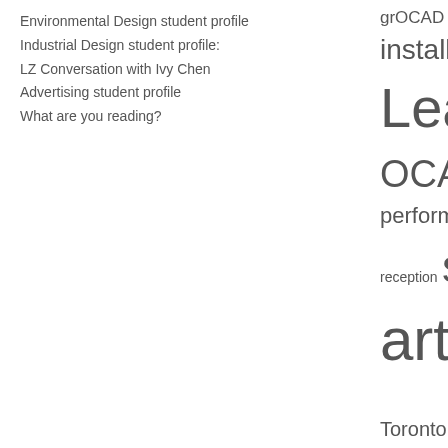Environmental Design student profile
Industrial Design student profile:
LZ Conversation with Ivy Chen
Advertising student profile
What are you reading?
[Figure (infographic): Tag cloud showing words of varying sizes: grOCAD, hours, installation, Inter, Learning, OCAD, OCA, performance, phot, reception, service, artwork, stu, Toronto, video, XPACE, zine libra]